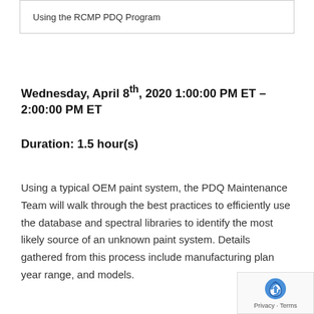Using the RCMP PDQ Program
Wednesday, April 8th, 2020 1:00:00 PM ET – 2:00:00 PM ET
Duration: 1.5 hour(s)
Using a typical OEM paint system, the PDQ Maintenance Team will walk through the best practices to efficiently use the database and spectral libraries to identify the most likely source of an unknown paint system. Details gathered from this process include manufacturing plant year range, and models.